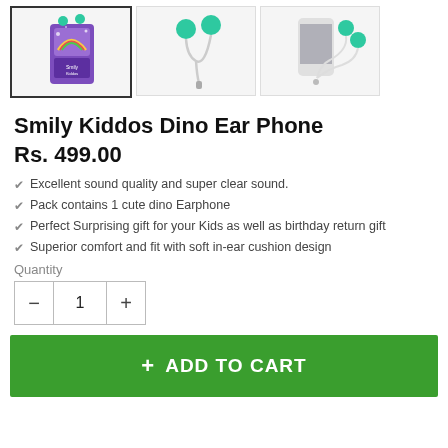[Figure (photo): Three product thumbnail images of Smily Kiddos Dino Ear Phone: first shows product packaging (purple box with rainbow), second shows green earphone buds with cable, third shows a smartphone with earphones.]
Smily Kiddos Dino Ear Phone
Rs. 499.00
Excellent sound quality and super clear sound.
Pack contains 1 cute dino Earphone
Perfect Surprising gift for your Kids as well as birthday return gift
Superior comfort and fit with soft in-ear cushion design
Quantity
1
+ ADD TO CART